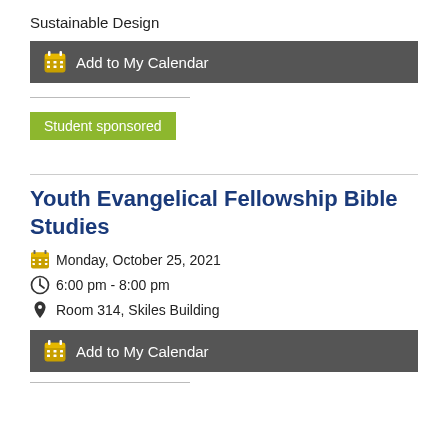Sustainable Design
Add to My Calendar
Student sponsored
Youth Evangelical Fellowship Bible Studies
Monday, October 25, 2021
6:00 pm - 8:00 pm
Room 314, Skiles Building
Add to My Calendar